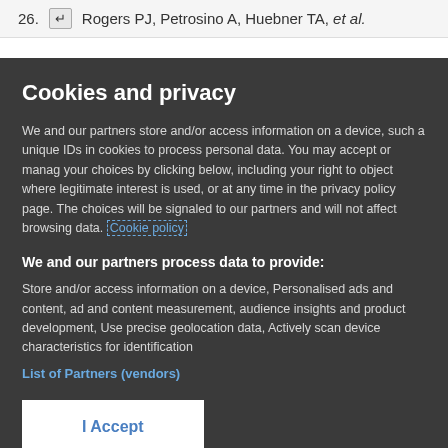26. Rogers PJ, Petrosino A, Huebner TA, et al.
Cookies and privacy
We and our partners store and/or access information on a device, such as unique IDs in cookies to process personal data. You may accept or manage your choices by clicking below, including your right to object where legitimate interest is used, or at any time in the privacy policy page. These choices will be signaled to our partners and will not affect browsing data. Cookie policy
We and our partners process data to provide:
Store and/or access information on a device, Personalised ads and content, ad and content measurement, audience insights and product development, Use precise geolocation data, Actively scan device characteristics for identification
List of Partners (vendors)
I Accept